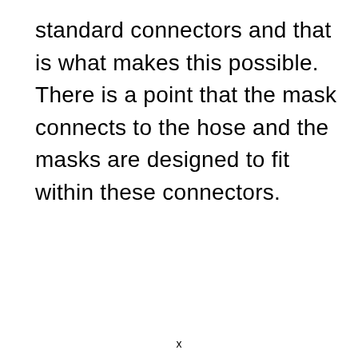standard connectors and that is what makes this possible. There is a point that the mask connects to the hose and the masks are designed to fit within these connectors.
x